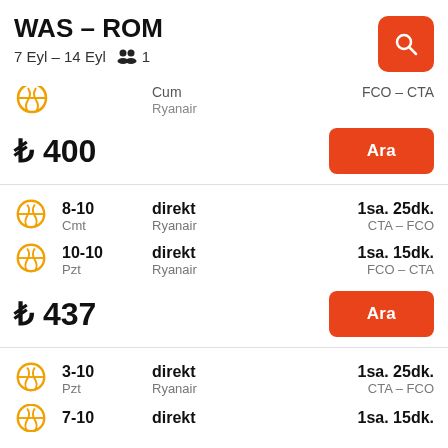WAS – ROM
7 Eyl – 14 Eyl  👥 1
Cum  Ryanair  FCO – CTA
₺ 400
Ara
8-10  Cmt  direkt  Ryanair  1sa. 25dk.  CTA – FCO
10-10  Pzt  direkt  Ryanair  1sa. 15dk.  FCO – CTA
₺ 437
Ara
3-10  Pzt  direkt  Ryanair  1sa. 25dk.  CTA – FCO
7-10  direkt  1sa. 15dk.